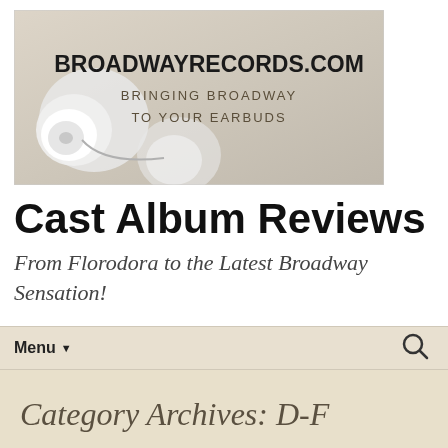[Figure (illustration): Broadway Records advertisement banner showing earbuds with text BROADWAYRECORDS.COM and BRINGING BROADWAY TO YOUR EARBUDS]
Cast Album Reviews
From Florodora to the Latest Broadway Sensation!
Menu
Category Archives: D-F
Emojiland
D-F